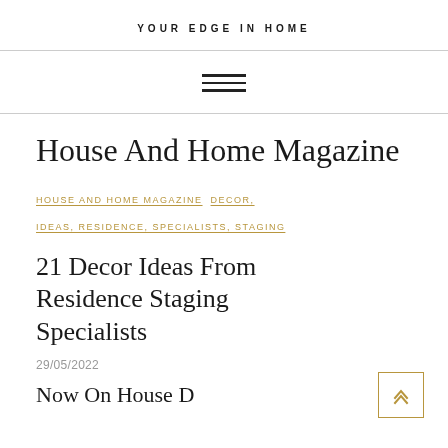YOUR EDGE IN HOME
[Figure (other): Hamburger menu icon (three horizontal lines)]
House And Home Magazine
HOUSE AND HOME MAGAZINE   DECOR, IDEAS, RESIDENCE, SPECIALISTS, STAGING
21 Decor Ideas From Residence Staging Specialists
29/05/2022
Now On House D...